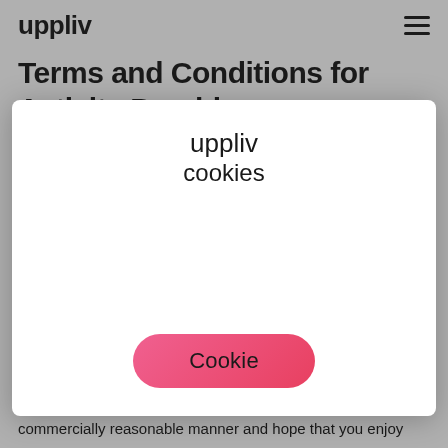uppliv
Terms and Conditions for Activity Providers
[Figure (screenshot): Cookie consent modal dialog with 'uppliv' brand name, 'cookies' text, and a pink 'Cookie' button]
uppliv may be used by you as a local activity provider (an "Activity Provider") to offer your activities via uppliv.com, your own website and via our distribution partners.
Warranty and Disclaimer. We provide our services in a commercially reasonable manner and hope that you enjoy